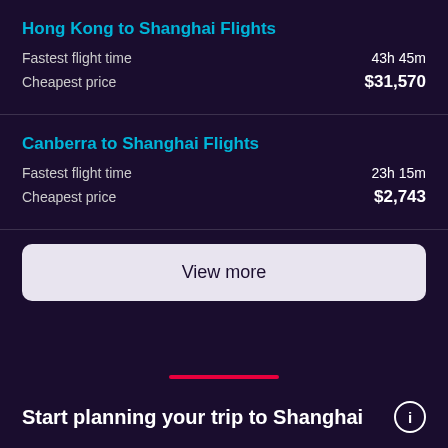Hong Kong to Shanghai Flights
Fastest flight time: 43h 45m
Cheapest price: $31,570
Canberra to Shanghai Flights
Fastest flight time: 23h 15m
Cheapest price: $2,743
View more
Start planning your trip to Shanghai